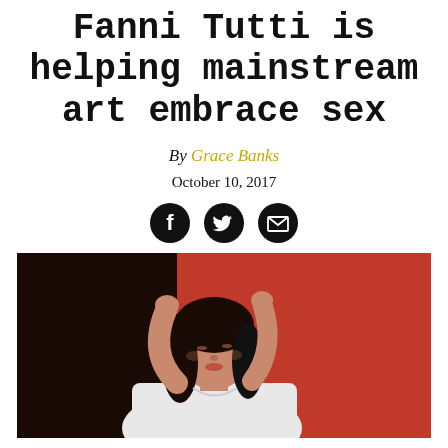Fanni Tutti is helping mainstream art embrace sex
By Grace Banks
October 10, 2017
[Figure (photo): Woman with dark hair and bangs, wearing a white t-shirt, arms raised above head, posed against a red background]